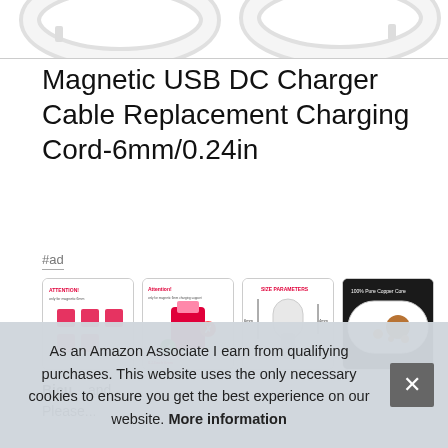[Figure (photo): Top portion of product image showing white USB charging cables on white background]
Magnetic USB DC Charger Cable Replacement Charging Cord-6mm/0.24in
#ad
[Figure (photo): Four product thumbnail images: attention/warning infographic, size measurement diagram, size parameters diagram, 100% Pure Copper Core cross-section photo]
Bicu... and... Please...
As an Amazon Associate I earn from qualifying purchases. This website uses the only necessary cookies to ensure you get the best experience on our website. More information